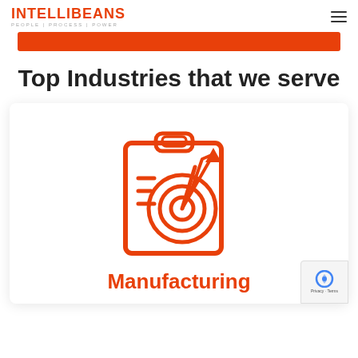INTELLIBEANS | PEOPLE | PROCESS | POWER
[Figure (other): Orange horizontal bar/button partially visible]
Top Industries that we serve
[Figure (illustration): Orange line icon of a clipboard with a target/bullseye and pencil on it, representing manufacturing]
Manufacturing